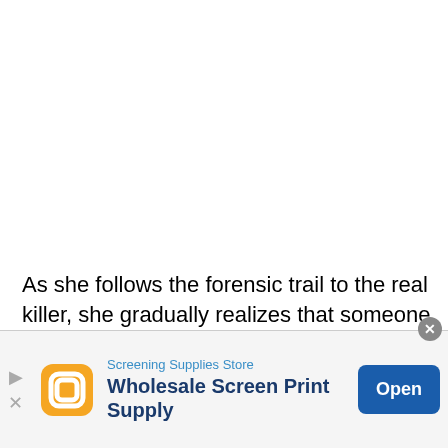As she follows the forensic trail to the real killer, she gradually realizes that someone has been spinning a web for years with the aim of entrapping her. Who is it, and why are they so desperate to be rid of her?
[Figure (screenshot): Mobile advertisement banner for Screening Supplies Store - Wholesale Screen Print Supply with Open button]